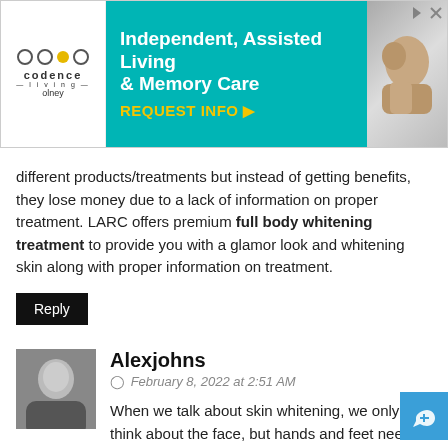[Figure (screenshot): Advertisement banner for Codence Living - Independent, Assisted Living & Memory Care in Olney. Teal background with white text and yellow CTA 'REQUEST INFO'. Logo on left, photo of elderly couple on right.]
different products/treatments but instead of getting benefits, they lose money due to a lack of information on proper treatment. LARC offers premium full body whitening treatment to provide you with a glamor look and whitening skin along with proper information on treatment.
Reply
Alexjohns
February 8, 2022 at 2:51 AM
When we talk about skin whitening, we only think about the face, but hands and feet need more attention for skin, as these also have more exposure to the weather. The best hand and foot whitening cream in Pakistan is scientifically researched based and specially designed for the Asian environment.
Daily use of it will provide you a whiten and glowing hands and feet.